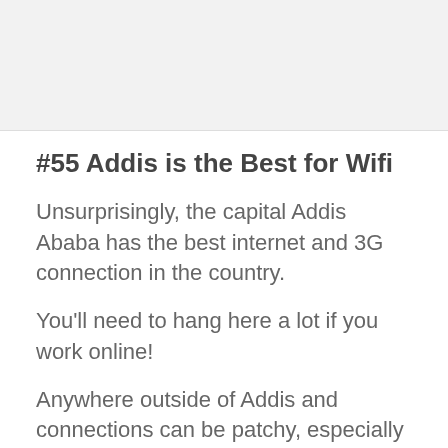#55 Addis is the Best for Wifi
Unsurprisingly, the capital Addis Ababa has the best internet and 3G connection in the country.
You'll need to hang here a lot if you work online!
Anywhere outside of Addis and connections can be patchy, especially 3G, which the government often shuts off completely. HA!